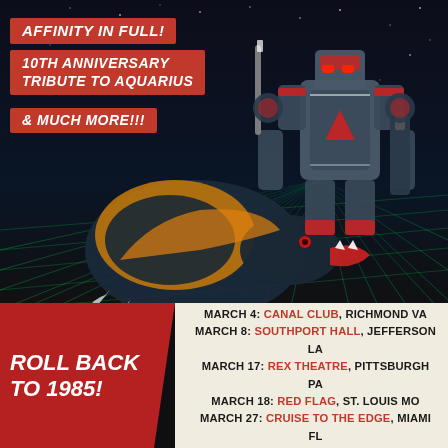[Figure (illustration): Concert/tour poster artwork featuring a large mecha robot warrior riding a dragon-like creature against a dark space background with green laser grid lines. The illustration is done in a retro sci-fi anime style.]
AFFINITY IN FULL!
10TH ANNIVERSARY TRIBUTE TO AQUARIUS
& MUCH MORE!!!
ROLL BACK TO 1985!
MARCH 4: CANAL CLUB, RICHMOND VA
MARCH 8: SOUTHPORT HALL, JEFFERSON LA
MARCH 17: REX THEATRE, PITTSBURGH PA
MARCH 18: RED FLAG, ST. LOUIS MO
MARCH 27: CRUISE TO THE EDGE, MIAMI FL